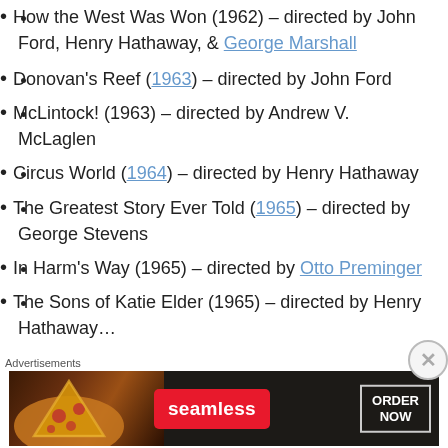How the West Was Won (1962) – directed by John Ford, Henry Hathaway, & George Marshall
Donovan's Reef (1963) – directed by John Ford
McLintock! (1963) – directed by Andrew V. McLaglen
Circus World (1964) – directed by Henry Hathaway
The Greatest Story Ever Told (1965) – directed by George Stevens
In Harm's Way (1965) – directed by Otto Preminger
The Sons of Katie Elder (1965) – directed by Henry Hathaway
[Figure (infographic): Seamless food delivery advertisement banner with pizza image, red Seamless logo button, and ORDER NOW button on dark background]
Advertisements